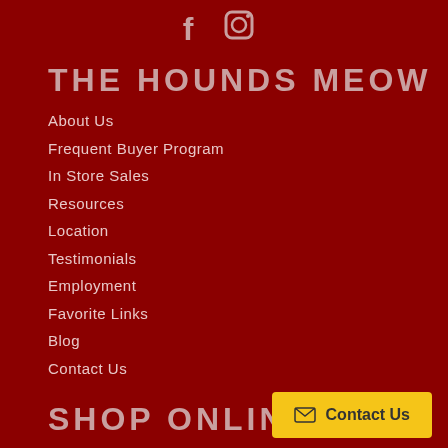[Figure (illustration): Social media icons: Facebook and Instagram, displayed at the top center of the page]
THE HOUNDS MEOW
About Us
Frequent Buyer Program
In Store Sales
Resources
Location
Testimonials
Employment
Favorite Links
Blog
Contact Us
SHOP ONLINE
Contact Us